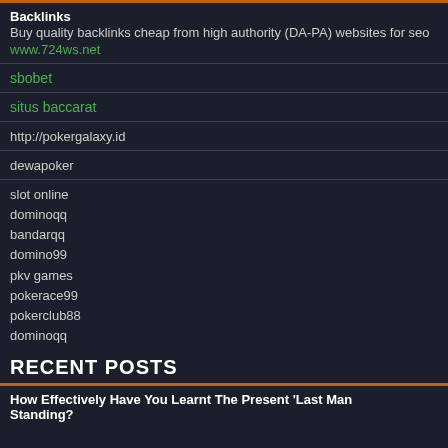Backlinks
Buy quality backlinks cheap from high authority (DA-PA) websites for seo
www.724ws.net
sbobet
situs baccarat
http://pokergalaxy.id
dewapoker
slot online
dominoqq
bandarqq
domino99
pkv games
pokerace99
pokerclub88
dominoqq
RECENT POSTS
How Effectively Have You Learnt The Present 'Last Man Standing?